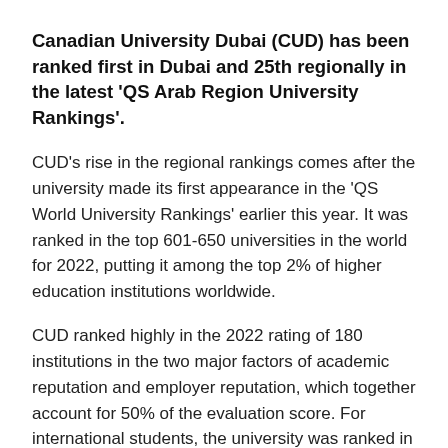Canadian University Dubai (CUD) has been ranked first in Dubai and 25th regionally in the latest 'QS Arab Region University Rankings'.
CUD's rise in the regional rankings comes after the university made its first appearance in the 'QS World University Rankings' earlier this year. It was ranked in the top 601-650 universities in the world for 2022, putting it among the top 2% of higher education institutions worldwide.
CUD ranked highly in the 2022 rating of 180 institutions in the two major factors of academic reputation and employer reputation, which together account for 50% of the evaluation score. For international students, the university was ranked in the top four, while for international faculty it was